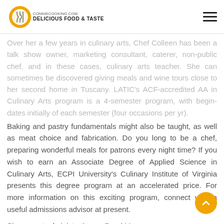CONNIECOOKING.COM DELICIOUS FOOD & TASTE
Over her a few years in culinary arts, Chef Colleen has been a talk show owner, marketing consultant, caterer, non-public chef, and in these cases, culinary arts teacher. She can sometimes be discovered giving meals and wine tours close to her second home in Tuscany. LATIC's ACF-accredited AA in Culinary Arts program is a 4-semester program, with begin-dates initially of each semester (four occasions per yr).
Baking and pastry fundamentals might also be taught, as well as meat choice and fabrication. Do you long to be a chef, preparing wonderful meals for patrons every night time? If you wish to earn an Associate Degree of Applied Science in Culinary Arts, ECPI University's Culinary Institute of Virginia presents this degree program at an accelerated price. For more information on this exciting program, connect with a useful admissions advisor at present.
Since most administration … Read More
Read More »